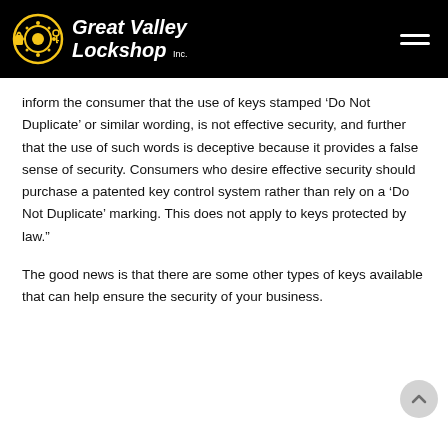Great Valley Lockshop Inc.
inform the consumer that the use of keys stamped ‘Do Not Duplicate’ or similar wording, is not effective security, and further that the use of such words is deceptive because it provides a false sense of security. Consumers who desire effective security should purchase a patented key control system rather than rely on a ‘Do Not Duplicate’ marking. This does not apply to keys protected by law.”
The good news is that there are some other types of keys available that can help ensure the security of your business.